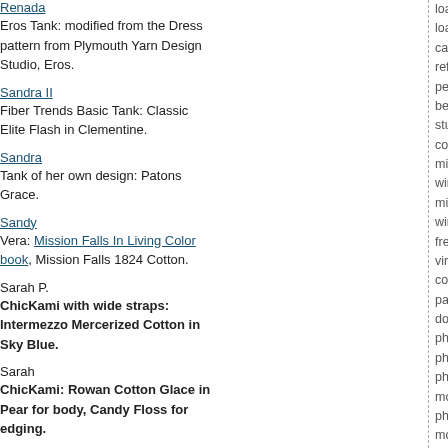Renada
Eros Tank: modified from the Dress pattern from Plymouth Yarn Design Studio, Eros.
Sandra II
Fiber Trends Basic Tank: Classic Elite Flash in Clementine.
Sandra
Tank of her own design: Patons Grace.
Sandy
Vera: Mission Falls In Living Color book, Mission Falls 1824 Cotton.
Sarah P.
ChicKami with wide straps: Intermezzo Mercerized Cotton in Sky Blue.
Sarah
ChicKami: Rowan Cotton Glace in Pear for body, Candy Floss for edging.
Share
Tank TBA - Under consideration: Goddess tank or something from the Hollywood Knits book
loan-auto loan-consolidate loans-h loan-mortgage loan-online loan-loa cash loan-payday loan online-direc refinance loan-fast cash personal l personal bank loan-personal loan o best personal loan-personal cash lo student loan-college student loan-s consolidation-credit debt consolida microsoft software-microsoft office window-microsoft downloads-free m microsoft word download-microsof window update-microsoft corporati free microsoft download-microsoft virus-software company-software d company-microsoft certification-mi partner-microsoft project-microsof download microsoft office-microso phone-motorola cell phone-motoro phone wireless-motorola phone sli phone-motorola accessory-motorol motorola cell phone-free motorola c phone software-motorola cell phon model-motorola phone model-moto motorola cell phone accessory-mo headset-new motorola phone-nexte nextel cellular-free nextel phone-ce nextel phone-nextel phone prepaid- accessory nextel phone-nextel pho discount nextel phone-nextel phon phone cellular free nextel phone ce